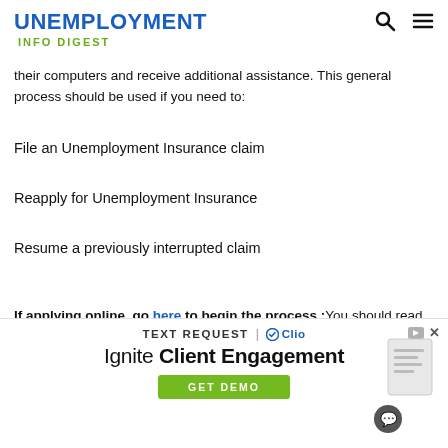UNEMPLOYMENT INFO DIGEST
their computers and receive additional assistance. This general process should be used if you need to:
File an Unemployment Insurance claim
Reapply for Unemployment Insurance
Resume a previously interrupted claim
If applying online, go here to begin the process.;You should read over and watch any tutorials in order to ensure your successful completion of the unemployment
[Figure (infographic): Advertisement banner: TEXT REQUEST | Clio logo. Ignite Client Engagement. GET DEMO button. Decorative graphic on right side.]